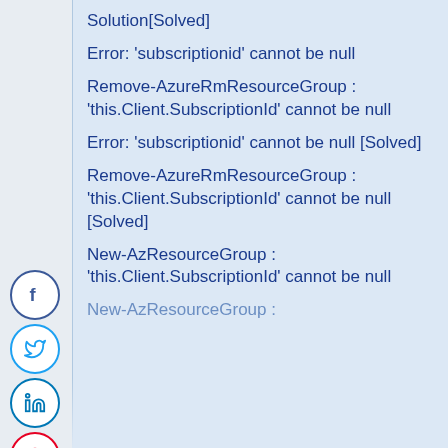Solution[Solved]
Error: 'subscriptionid' cannot be null
Remove-AzureRmResourceGroup : 'this.Client.SubscriptionId' cannot be null
Error: 'subscriptionid' cannot be null [Solved]
Remove-AzureRmResourceGroup : 'this.Client.SubscriptionId' cannot be null [Solved]
New-AzResourceGroup : 'this.Client.SubscriptionId' cannot be null
New-AzResourceGroup : 'this.Client.SubscriptionId' cannot be null